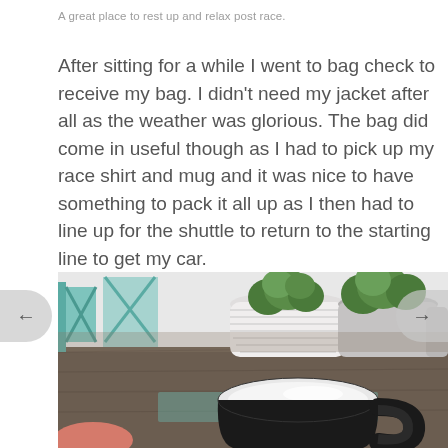A great place to rest up and relax post race.
After sitting for a while I went to bag check to receive my bag. I didn't need my jacket after all as the weather was glorious. The bag did come in useful though as I had to pick up my race shirt and mug and it was nice to have something to pack it all up as I then had to line up for the shuttle to return to the starting line to get my car.
[Figure (photo): A photograph of a dark wooden table with a black ceramic mug in the foreground, potted green plants in white and grey planters in the background, and teal/mint coloured chairs visible to the left.]